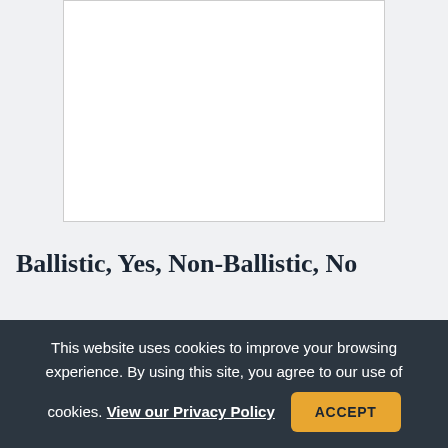[Figure (other): White rectangular image placeholder with light gray border, partially visible at top of page]
Ballistic, Yes, Non-Ballistic, No
Conventionally armed ICBMs or submarine-launched
This website uses cookies to improve your browsing experience. By using this site, you agree to our use of cookies. View our Privacy Policy ACCEPT